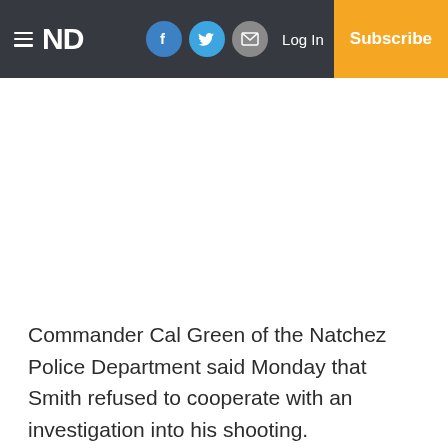ND | Log In | Subscribe
Commander Cal Green of the Natchez Police Department said Monday that Smith refused to cooperate with an investigation into his shooting.
He had been released on bond from the Adams